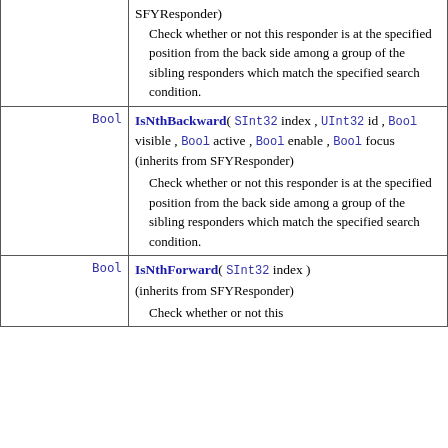| Type | Member |
| --- | --- |
| Bool | IsNthBackward( SInt32 index , UInt32 id , Bool visible , Bool active , Bool enable , Bool focus )
(inherits from SFYResponder)
Check whether or not this responder is at the specified position from the back side among a group of the sibling responders which match the specified search condition. |
| Bool | IsNthForward( SInt32 index )
(inherits from SFYResponder)
Check whether or not this |